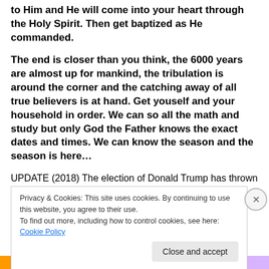to Him and He will come into your heart through the Holy Spirit. Then get baptized as He commanded.
The end is closer than you think, the 6000 years are almost up for mankind, the tribulation is around the corner and the catching away of all true believers is at hand. Get youself and your household in order. We can so all the math and study but only God the Father knows the exact dates and times. We can know the season and the season is here…
UPDATE (2018) The election of Donald Trump has thrown
Privacy & Cookies: This site uses cookies. By continuing to use this website, you agree to their use.
To find out more, including how to control cookies, see here: Cookie Policy
Close and accept